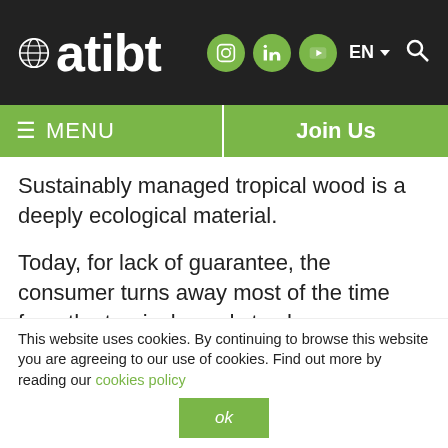atibt — EN — social icons (Instagram, LinkedIn, YouTube) — search
≡ MENU | Join Us
Sustainably managed tropical wood is a deeply ecological material.
Today, for lack of guarantee, the consumer turns away most of the time from the tropical woods to choose very often materials with the environmental assessment much less powerful.
This website uses cookies. By continuing to browse this website you are agreeing to our use of cookies. Find out more by reading our cookies policy
ok